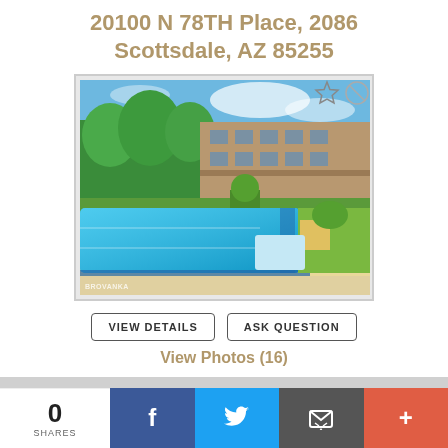20100 N 78TH Place, 2086
Scottsdale, AZ 85255
[Figure (photo): Outdoor swimming pool of an apartment complex with blue water, surrounding landscaping and a multi-story residential building in the background under a blue sky]
VIEW DETAILS
ASK QUESTION
View Photos (16)
# of Bedrooms: 1
0
SHARES